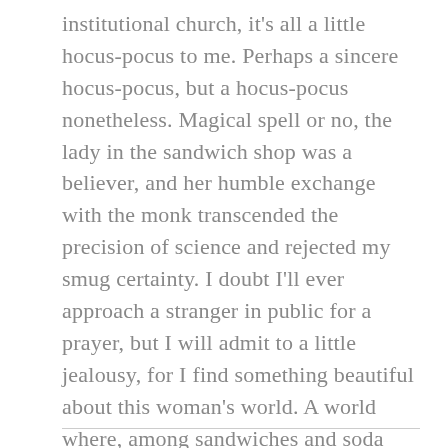institutional church, it's all a little hocus-pocus to me. Perhaps a sincere hocus-pocus, but a hocus-pocus nonetheless. Magical spell or no, the lady in the sandwich shop was a believer, and her humble exchange with the monk transcended the precision of science and rejected my smug certainty. I doubt I'll ever approach a stranger in public for a prayer, but I will admit to a little jealousy, for I find something beautiful about this woman's world. A world where, among sandwiches and soda pop, strangers can transcend the known world, invoke all-knowing and all-loving power, and comfort each other with their faith. True or not, in its sincerest form, it has a poetry. Even over pastrami.